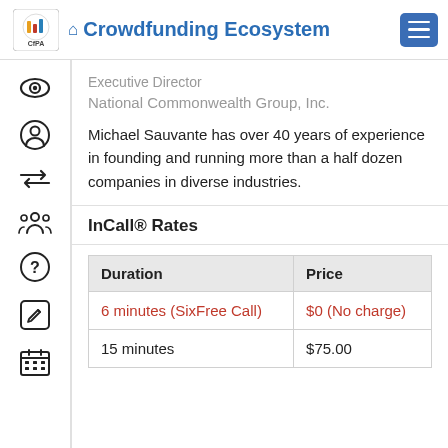Crowdfunding Ecosystem
Executive Director
National Commonwealth Group, Inc.
Michael Sauvante has over 40 years of experience in founding and running more than a half dozen companies in diverse industries.
InCall® Rates
| Duration | Price |
| --- | --- |
| 6 minutes (SixFree Call) | $0 (No charge) |
| 15 minutes | $75.00 |